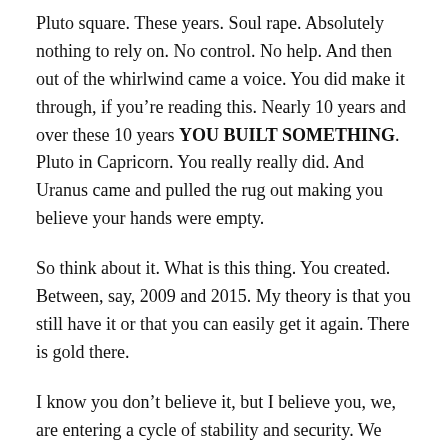Pluto square. These years. Soul rape. Absolutely nothing to rely on. No control. No help. And then out of the whirlwind came a voice. You did make it through, if you're reading this. Nearly 10 years and over these 10 years YOU BUILT SOMETHING. Pluto in Capricorn. You really really did. And Uranus came and pulled the rug out making you believe your hands were empty.
So think about it. What is this thing. You created. Between, say, 2009 and 2015. My theory is that you still have it or that you can easily get it again. There is gold there.
I know you don't believe it, but I believe you, we, are entering a cycle of stability and security. We won't have to beg so much or as hard. Now there is always a limit to “general” astrology as your individual chart trumps any general commentary but with that to say, with that...